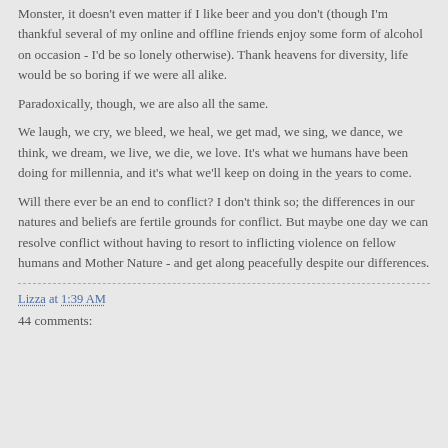Monster, it doesn't even matter if I like beer and you don't (though I'm thankful several of my online and offline friends enjoy some form of alcohol on occasion - I'd be so lonely otherwise). Thank heavens for diversity, life would be so boring if we were all alike.
Paradoxically, though, we are also all the same.
We laugh, we cry, we bleed, we heal, we get mad, we sing, we dance, we think, we dream, we live, we die, we love. It's what we humans have been doing for millennia, and it's what we'll keep on doing in the years to come.
Will there ever be an end to conflict? I don't think so; the differences in our natures and beliefs are fertile grounds for conflict. But maybe one day we can resolve conflict without having to resort to inflicting violence on fellow humans and Mother Nature - and get along peacefully despite our differences.
Lizza at 1:39 AM
44 comments: